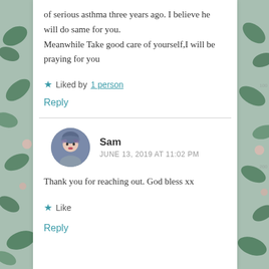of serious asthma three years ago. I believe he will do same for you.
Meanwhile Take good care of yourself,I will be praying for you
★ Liked by 1 person
Reply
Sam
JUNE 13, 2019 AT 11:02 PM
Thank you for reaching out. God bless xx
★ Like
Reply